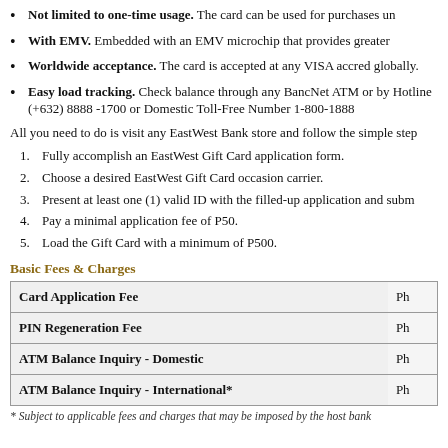Not limited to one-time usage. The card can be used for purchases un
With EMV. Embedded with an EMV microchip that provides greater
Worldwide acceptance. The card is accepted at any VISA accred globally.
Easy load tracking. Check balance through any BancNet ATM or by Hotline (+632) 8888 -1700 or Domestic Toll-Free Number 1-800-1888
All you need to do is visit any EastWest Bank store and follow the simple step
1. Fully accomplish an EastWest Gift Card application form.
2. Choose a desired EastWest Gift Card occasion carrier.
3. Present at least one (1) valid ID with the filled-up application and subm
4. Pay a minimal application fee of P50.
5. Load the Gift Card with a minimum of P500.
Basic Fees & Charges
| Fee Type | Amount |
| --- | --- |
| Card Application Fee | Ph |
| PIN Regeneration Fee | Ph |
| ATM Balance Inquiry - Domestic | Ph |
| ATM Balance Inquiry - International* | Ph |
* Subject to applicable fees and charges that may be imposed by the host bank